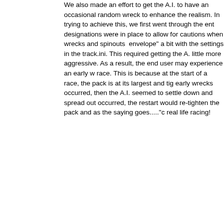We also made an effort to get the A.I. to have an occasional random wreck to enhance the realism. In trying to achieve this, we first went through the entire designations were in place to allow for cautions when wrecks and spinouts envelope" a bit with the settings in the track.ini. This required getting the A. little more aggressive. As a result, the end user may experience an early w race. This is because at the start of a race, the pack is at its largest and ti early wrecks occurred, then the A.I. seemed to settle down and spread out occurred, the restart would re-tighten the pack and as the saying goes...."d real life racing!
To enjoy the best results, we recommend that you use the default fast setu containing ratings as described above. Your results and A.I. behavior, howe used, the ratings of your specific car set, different setups used, driving styl make it practically impossible to predict the results that you will achieve wh
We hope that you enjoy the racing experience!
J.R. Franklin
Notes: On All Trackside Objects the entire track, including grandstands, inf This means the items are lit from the Sun (like the cars and track surface/w will have a shadow either cast on, or casting from them, this may take a wh
The Sun and lighting of the track has been adjusted to make the track feel the sky behind the main grandstand that in turn casts a huge shadow over made up of textures and shadow maps so depending whether you have sh you experience low fps, first of all try turning down trackside objects to Son if things don't improve, turn off ground shadows from everything apart from shadows off, you'll loose a lot of immersion, but at least you'll be able to ra